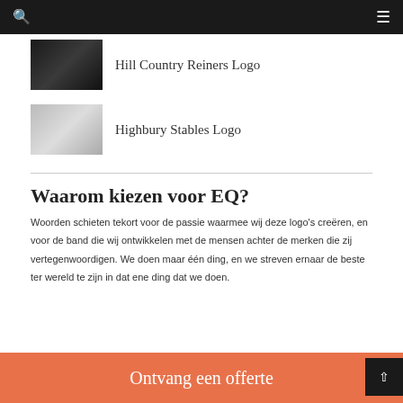Hill Country Reiners Logo
Highbury Stables Logo
Waarom kiezen voor EQ?
Woorden schieten tekort voor de passie waarmee wij deze logo's creëren, en voor de band die wij ontwikkelen met de mensen achter de merken die zij vertegenwoordigen. We doen maar één ding, en we streven ernaar de beste ter wereld te zijn in dat ene ding dat we doen.
Ontvang een offerte